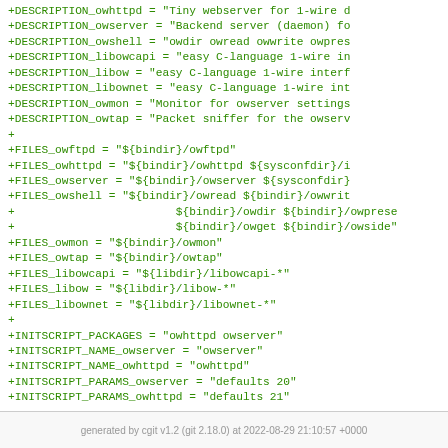+DESCRIPTION_owhttpd = "Tiny webserver for 1-wire d...
+DESCRIPTION_owserver = "Backend server (daemon) fo...
+DESCRIPTION_owshell = "owdir owread owwrite owpres...
+DESCRIPTION_libowcapi = "easy C-language 1-wire in...
+DESCRIPTION_libow = "easy C-language 1-wire interf...
+DESCRIPTION_libownet = "easy C-language 1-wire int...
+DESCRIPTION_owmon = "Monitor for owserver settings...
+DESCRIPTION_owtap = "Packet sniffer for the owserv...
+
+FILES_owftpd = "${bindir}/owftpd"
+FILES_owhttpd = "${bindir}/owhttpd ${sysconfdir}/i...
+FILES_owserver = "${bindir}/owserver ${sysconfdir}...
+FILES_owshell = "${bindir}/owread ${bindir}/owwrit...
+                        ${bindir}/owdir ${bindir}/owprese...
+                        ${bindir}/owget ${bindir}/owside"...
+FILES_owmon = "${bindir}/owmon"
+FILES_owtap = "${bindir}/owtap"
+FILES_libowcapi = "${libdir}/libowcapi-*"
+FILES_libow = "${libdir}/libow-*"
+FILES_libownet = "${libdir}/libownet-*"
+
+INITSCRIPT_PACKAGES = "owhttpd owserver"
+INITSCRIPT_NAME_owserver = "owserver"
+INITSCRIPT_NAME_owhttpd = "owhttpd"
+INITSCRIPT_PARAMS_owserver = "defaults 20"
+INITSCRIPT_PARAMS_owhttpd = "defaults 21"
generated by cgit v1.2 (git 2.18.0) at 2022-08-29 21:10:57 +0000